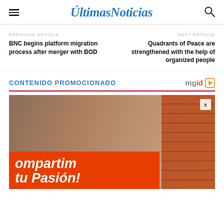Ultimas Noticias
PREVIOUS ARTICLE
BNC begins platform migration process after merger with BOD
NEXT ARTICLE
Quadrants of Peace are strengthened with the help of organized people
CONTENIDO PROMOCIONADO
[Figure (photo): Promotional advertisement image showing partial text 'ompartim' and 'tu Pasión!' in white italic bold font on an orange/red background, with a brick wall background visible, and a small close (x) button.]